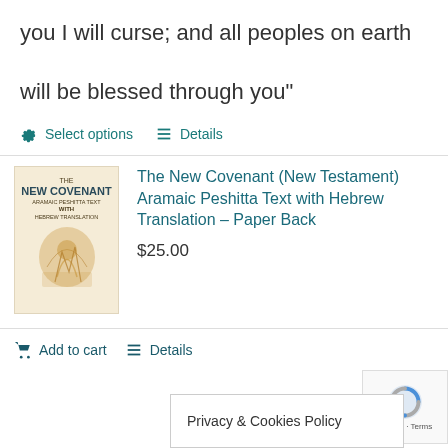you I will curse; and all peoples on earth will be blessed through you"
Select options
Details
[Figure (illustration): Book cover of The New Covenant Aramaic Peshitta Text with Hebrew Translation]
The New Covenant (New Testament) Aramaic Peshitta Text with Hebrew Translation – Paper Back
$25.00
Add to cart
Details
Privacy & Cookies Policy